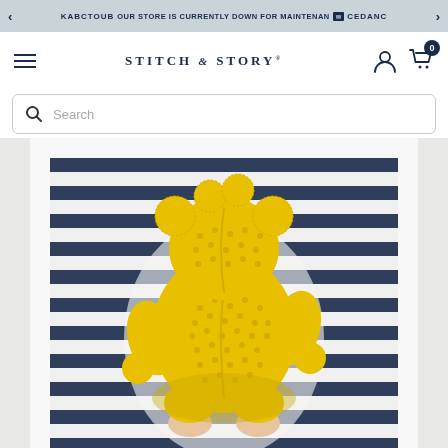KABCTOUB OUR STORE IS CURRENTLY DOWN FOR MAINTENANCE CEDANC
STITCH & STORY®
Search
[Figure (photo): A person in a navy and white striped shirt holding a large yellow crocheted stuffed animal (amigurumi) from behind, showing its back. The toy is bright yellow with a round body and limbs.]